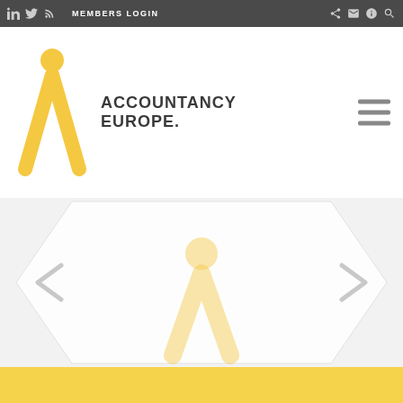LinkedIn Twitter RSS MEMBERS LOGIN Share Email Info Search
[Figure (logo): Accountancy Europe logo with yellow figure/compass icon and bold text 'ACCOUNTANCY EUROPE.']
[Figure (screenshot): Website slider/carousel area with large faded yellow Accountancy Europe logo mark (figure icon) centered on light grey background, with left and right chevron navigation arrows on either side, and a yellow footer bar at the bottom.]